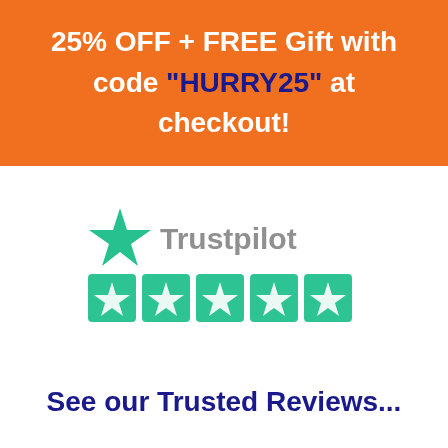25% OFF + FREE Gift with code "HURRY25" at checkout!
[Figure (logo): Trustpilot logo with green star and name, followed by five green star rating boxes]
See our Trusted Reviews...